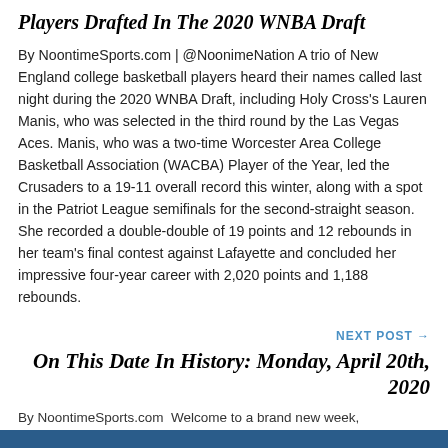Players Drafted In The 2020 WNBA Draft
By NoontimeSports.com | @NoonimeNation A trio of New England college basketball players heard their names called last night during the 2020 WNBA Draft, including Holy Cross's Lauren Manis, who was selected in the third round by the Las Vegas Aces. Manis, who was a two-time Worcester Area College Basketball Association (WACBA) Player of the Year, led the Crusaders to a 19-11 overall record this winter, along with a spot in the Patriot League semifinals for the second-straight season. She recorded a double-double of 19 points and 12 rebounds in her team's final contest against Lafayette and concluded her impressive four-year career with 2,020 points and 1,188 rebounds.
NEXT POST →
On This Date In History: Monday, April 20th, 2020
By NoontimeSports.com  Welcome to a brand new week,